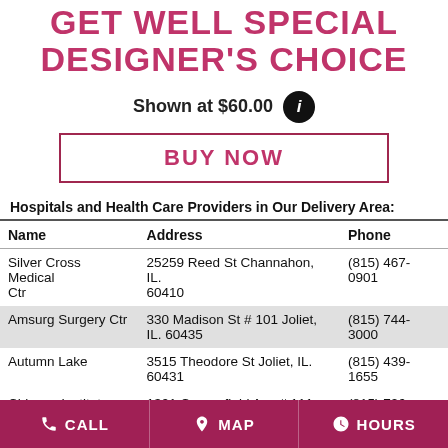GET WELL SPECIAL DESIGNER'S CHOICE
Shown at $60.00
BUY NOW
Hospitals and Health Care Providers in Our Delivery Area:
| Name | Address | Phone |
| --- | --- | --- |
| Silver Cross Medical Ctr | 25259 Reed St Channahon, IL. 60410 | (815) 467-0901 |
| Amsurg Surgery Ctr | 330 Madison St # 101 Joliet, IL. 60435 | (815) 744-3000 |
| Autumn Lake | 3515 Theodore St Joliet, IL. 60431 | (815) 439-1655 |
| Chicago Institute- | 1301 Copperfield Ave # 111 | (815) 726-8585 |
CALL   MAP   HOURS